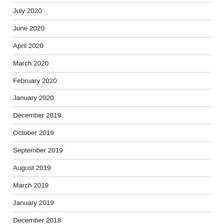July 2020
June 2020
April 2020
March 2020
February 2020
January 2020
December 2019
October 2019
September 2019
August 2019
March 2019
January 2019
December 2018